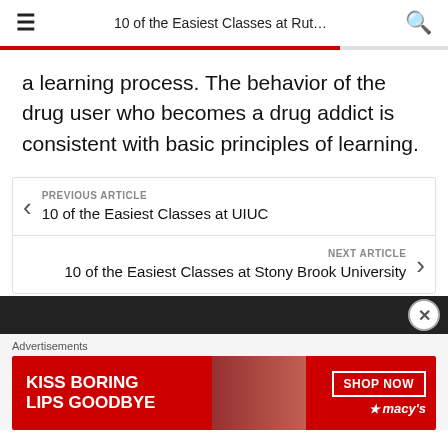10 of the Easiest Classes at Rut…
a learning process. The behavior of the drug user who becomes a drug addict is consistent with basic principles of learning.
PREVIOUS ARTICLE
10 of the Easiest Classes at UIUC
NEXT ARTICLE
10 of the Easiest Classes at Stony Brook University
[Figure (other): Advertisement banner — KISS BORING LIPS GOODBYE, SHOP NOW, Macy's logo on red background with woman's face]